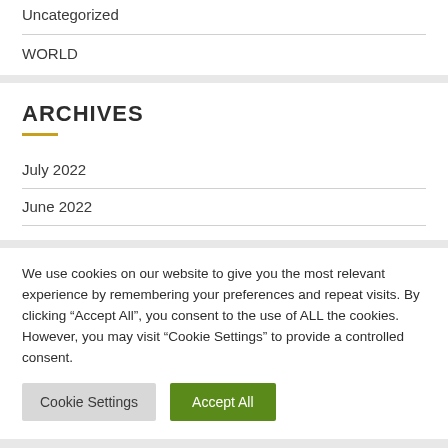Uncategorized
WORLD
ARCHIVES
July 2022
June 2022
We use cookies on our website to give you the most relevant experience by remembering your preferences and repeat visits. By clicking “Accept All”, you consent to the use of ALL the cookies. However, you may visit “Cookie Settings” to provide a controlled consent.
Cookie Settings
Accept All